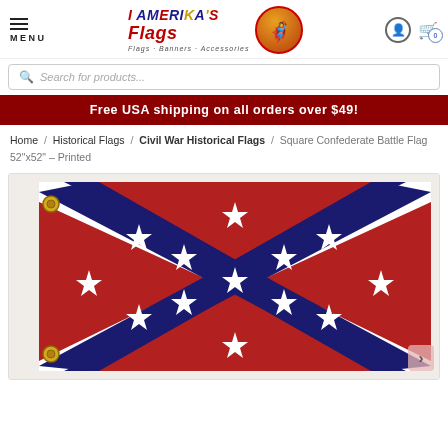MENU | I AM ERIKA'S FLAGS - Flags · Banners · Accessories | [user icon] [cart icon 0]
Search for products...
Free USA shipping on all orders over $49!
Home / Historical Flags / Civil War Historical Flags / Square Confederate Battle Flag 52"x52" – Printed
[Figure (photo): Product photo of a square Confederate Battle Flag showing the diagonal cross (saltire) design with blue X and white stars on red background, with white canvas border and brass grommets visible.]